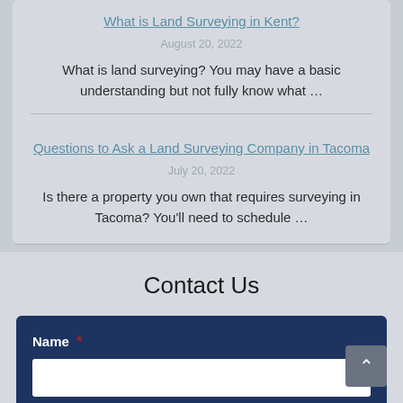What is Land Surveying in Kent?
August 20, 2022
What is land surveying? You may have a basic understanding but not fully know what …
Questions to Ask a Land Surveying Company in Tacoma
July 20, 2022
Is there a property you own that requires surveying in Tacoma? You'll need to schedule …
Contact Us
Name *
Phone *